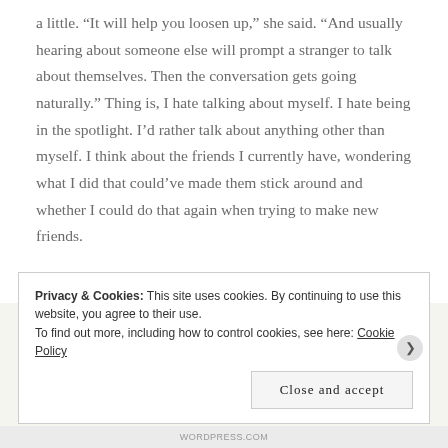a little. “It will help you loosen up,” she said. “And usually hearing about someone else will prompt a stranger to talk about themselves. Then the conversation gets going naturally.” Thing is, I hate talking about myself. I hate being in the spotlight. I’d rather talk about anything other than myself. I think about the friends I currently have, wondering what I did that could’ve made them stick around and whether I could do that again when trying to make new friends.
Honestly, I think I just got lucky with those guys...
Privacy & Cookies: This site uses cookies. By continuing to use this website, you agree to their use.
To find out more, including how to control cookies, see here: Cookie Policy
Close and accept